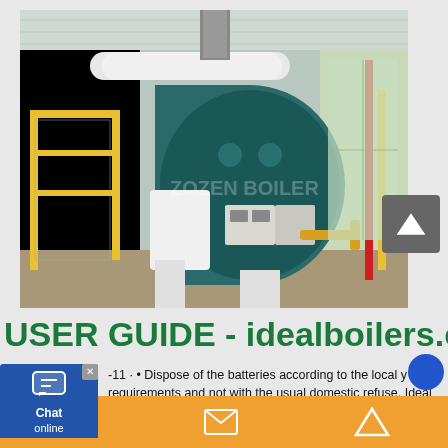[Figure (photo): Industrial boiler installation in a factory/warehouse setting. A large teal/green cylindrical boiler unit is prominently visible, with white insulated pipes on top, yellow safety railings, red and yellow gas pipes on the right side, and control panels mounted on the boiler face. The facility has a corrugated metal roof. A watermark reading 'ZOZEN BOILER' is visible on the image.]
USER GUIDE - idealboilers.c
-11 · • Dispose of the batteries according to the local y requirements and not with the usual domestic refuse. Ideal Ltd., P.O. Box 103, National Ave, Kingston Upon Hull, HU 4JN. Tel. 01482 492251 Fax. 01482 448858. Registration No.